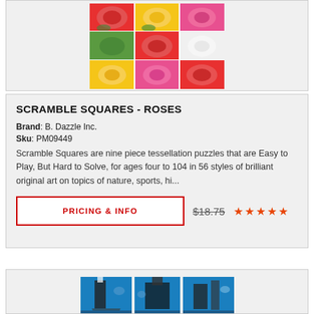[Figure (photo): Scramble Squares Roses puzzle image showing a 3x3 grid of colorful rose tiles in red, yellow, pink, and white]
SCRAMBLE SQUARES - ROSES
Brand: B. Dazzle Inc.
Sku: PM09449
Scramble Squares are nine piece tessellation puzzles that are Easy to Play, But Hard to Solve, for ages four to 104 in 56 styles of brilliant original art on topics of nature, sports, hi...
PRICING & INFO
$18.75
[Figure (photo): Partial view of another Scramble Squares puzzle with blue background showing 3 puzzle tiles at the bottom of the page]